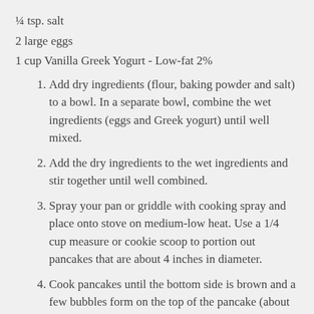¼ tsp. salt
2 large eggs
1 cup Vanilla Greek Yogurt - Low-fat 2%
1. Add dry ingredients (flour, baking powder and salt) to a bowl. In a separate bowl, combine the wet ingredients (eggs and Greek yogurt) until well mixed.
2. Add the dry ingredients to the wet ingredients and stir together until well combined.
3. Spray your pan or griddle with cooking spray and place onto stove on medium-low heat. Use a 1/4 cup measure or cookie scoop to portion out pancakes that are about 4 inches in diameter.
4. Cook pancakes until the bottom side is brown and a few bubbles form on the top of the pancake (about 3-4 minutes), then flip the pancakes. You'll notice that these pancakes won't bubble up too much like traditional pancakes. Leave extra room in the pan because the pancakes may splatter when you flip them.